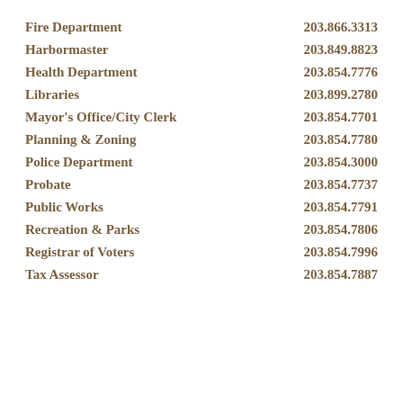Fire Department    203.866.3313
Harbormaster    203.849.8823
Health Department    203.854.7776
Libraries    203.899.2780
Mayor's Office/City Clerk    203.854.7701
Planning & Zoning    203.854.7780
Police Department    203.854.3000
Probate    203.854.7737
Public Works    203.854.7791
Recreation & Parks    203.854.7806
Registrar of Voters    203.854.7996
Tax Assessor    203.854.7887